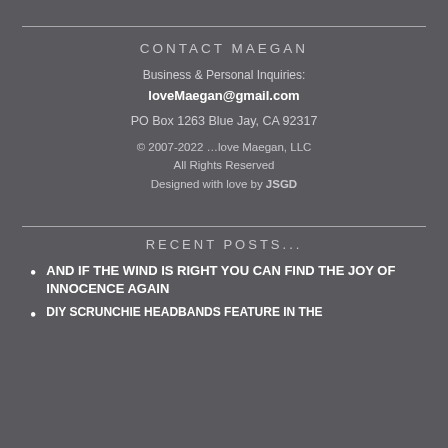CONTACT MAEGAN
Business & Personal Inquiries:
loveMaegan@gmail.com
PO Box 1263 Blue Jay, CA 92317
© 2007-2022 …love Maegan, LLC
All Rights Reserved
Designed with love by JSGD
RECENT POSTS...
AND IF THE WIND IS RIGHT YOU CAN FIND THE JOY OF INNOCENCE AGAIN
DIY SCRUNCHIE HEADBANDS FEATURE IN THE